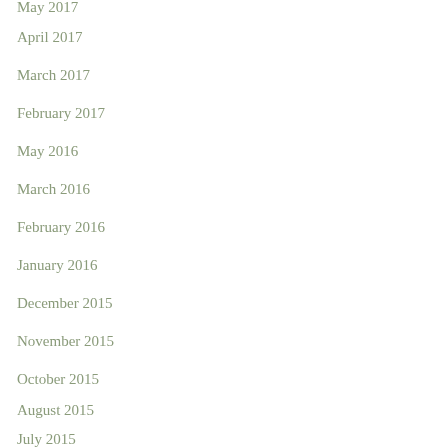May 2017
April 2017
March 2017
February 2017
May 2016
March 2016
February 2016
January 2016
December 2015
November 2015
October 2015
August 2015
July 2015